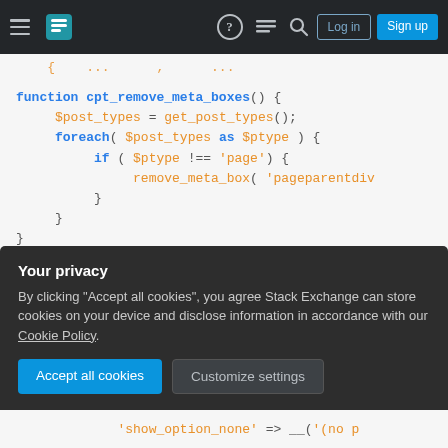Stack Exchange navigation bar with hamburger menu, logo, search, help, chat icons, Log in and Sign up buttons
[Figure (screenshot): Code snippet showing PHP functions: cpt_remove_meta_boxes() with foreach loop, and cpt_meta_box($post) with variable assignments, on a light gray background. Syntax highlighted: keywords in blue, variables/strings in orange, braces in dark gray.]
Your privacy
By clicking "Accept all cookies", you agree Stack Exchange can store cookies on your device and disclose information in accordance with our Cookie Policy.
Accept all cookies   Customize settings